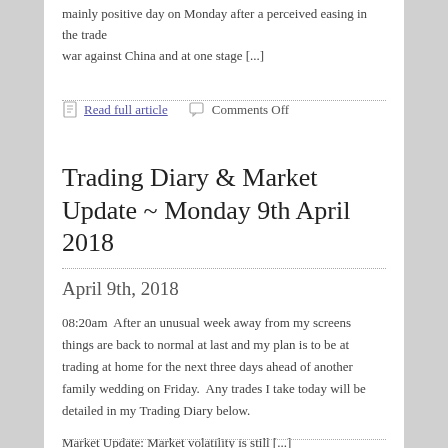mainly positive day on Monday after a perceived easing in the trade war against China and at one stage [...]
Read full article   Comments Off
Trading Diary & Market Update ~ Monday 9th April 2018
April 9th, 2018
08:20am  After an unusual week away from my screens things are back to normal at last and my plan is to be at trading at home for the next three days ahead of another family wedding on Friday.  Any trades I take today will be detailed in my Trading Diary below.

Market Update: Market volatility is still [...]